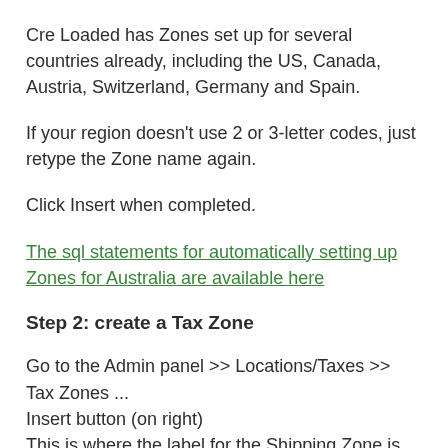Cre Loaded has Zones set up for several countries already, including the US, Canada, Austria, Switzerland, Germany and Spain.
If your region doesn't use 2 or 3-letter codes, just retype the Zone name again.
Click Insert when completed.
The sql statements for automatically setting up Zones for Australia are available here
Step 2: create a Tax Zone
Go to the Admin panel >> Locations/Taxes >> Tax Zones ... Insert button (on right)
This is where the label for the Shipping Zone is created. You don't have to use a geographic location as the Tax Zone title –